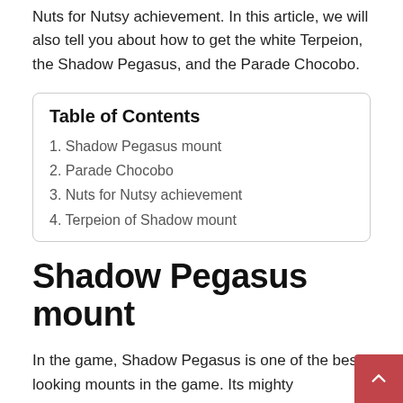Nuts for Nutsy achievement. In this article, we will also tell you about how to get the white Terpeion, the Shadow Pegasus, and the Parade Chocobo.
| Table of Contents |
| --- |
| 1. Shadow Pegasus mount |
| 2. Parade Chocobo |
| 3. Nuts for Nutsy achievement |
| 4. Terpeion of Shadow mount |
Shadow Pegasus mount
In the game, Shadow Pegasus is one of the best-looking mounts in the game. Its mighty